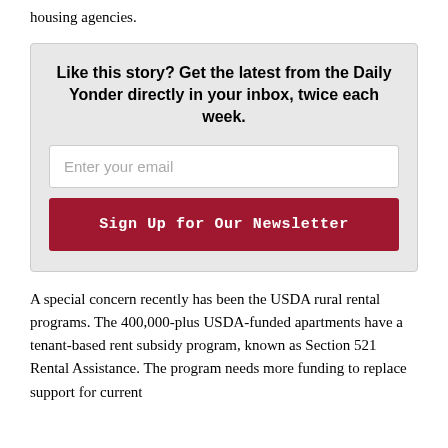housing agencies.
Like this story? Get the latest from the Daily Yonder directly in your inbox, twice each week.
A special concern recently has been the USDA rural rental programs. The 400,000-plus USDA-funded apartments have a tenant-based rent subsidy program, known as Section 521 Rental Assistance. The program needs more funding to replace support for current